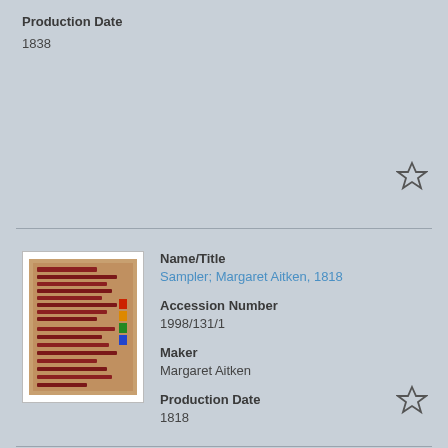Production Date
1838
[Figure (photo): Thumbnail photo of a textile sampler artifact displayed against a white background]
Name/Title
Sampler; Margaret Aitken, 1818
Accession Number
1998/131/1
Maker
Margaret Aitken
Production Date
1818